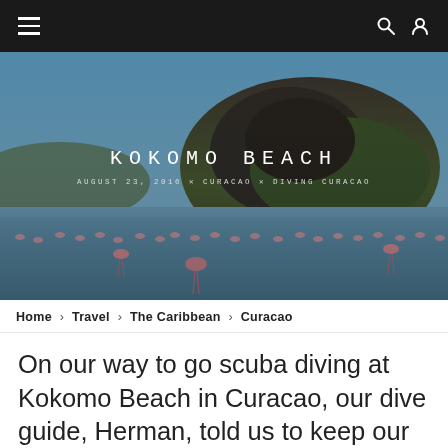≡  🔍  👤
[Figure (photo): Scenic bay photo with a rocky green hill in the background, flamingos wading in shallow blue water in the foreground, with an overlaid blog post title and metadata]
KOKOMO BEACH
AUGUST 23, 2016  ✕  CURACAO  ✕  DIVING CURACAO
Home › Travel › The Caribbean › Curacao
On our way to go scuba diving at Kokomo Beach in Curacao, our dive guide, Herman, told us to keep our eyes open, because we were going to be passing by a bay that is a popular hangout spot for flamingos!